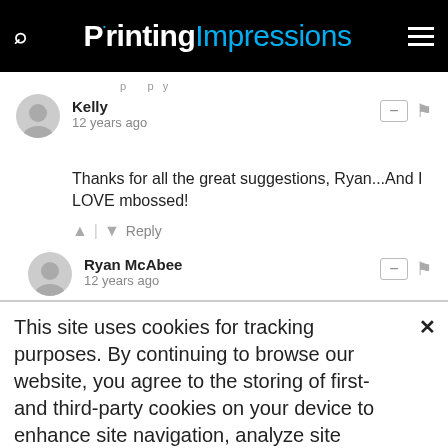Printing Impressions
Kelly
12 years ago
Thanks for all the great suggestions, Ryan...And I LOVE mbossed!
Reply
Ryan McAbee
12 years ago
Kelly
This site uses cookies for tracking purposes. By continuing to browse our website, you agree to the storing of first- and third-party cookies on your device to enhance site navigation, analyze site usage, and assist in our marketing and
Accept and Close ✕
Your browser settings do not allow cross-site tracking for advertising. Click on this page to allow AdRoll to use cross-site tracking to tailor ads to you. Learn more or opt out of this AdRoll tracking by clicking here. This message only appears once.